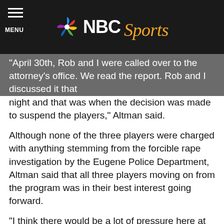NBC Sports
"April 30th, Rob and I were called over to the attorney's office. We read the report. Rob and I discussed it that night and that was when the decision was made to suspend the players," Altman said.
Although none of the three players were charged with anything stemming from the forcible rape investigation by the Eugene Police Department, Altman said that all three players moving on from the program was in their best interest going forward.
“I think there would be a lot of pressure here at Oregon if they were to return and try to play basketball,” Altman said. “They were disappointed. [Artis] and [Dotson] love the university and they love their time here so we’re disappointed.”
Altman has since spoken with all three players and also